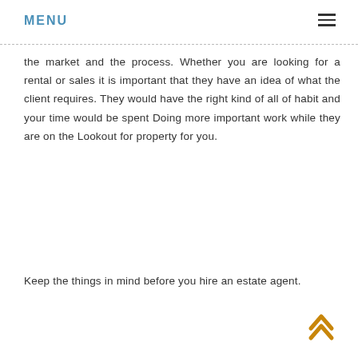MENU
the market and the process. Whether you are looking for a rental or sales it is important that they have an idea of what the client requires. They would have the right kind of all of habit and your time would be spent Doing more important work while they are on the Lookout for property for you.
Keep the things in mind before you hire an estate agent.